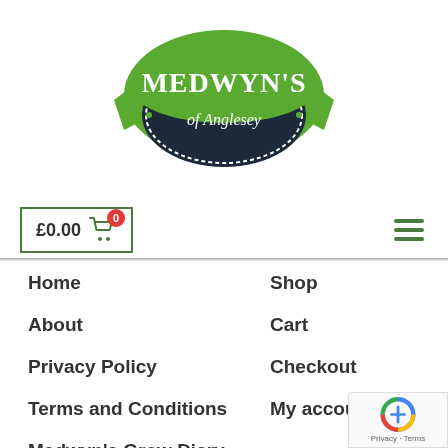[Figure (logo): Medwyn's of Anglesey logo — green banner ribbon with bold white text MEDWYN'S arched above, and 'of Anglesey' in italic white text on a dark navy oval/shield shape, with green leaves on either side]
[Figure (screenshot): Shopping cart button showing £0.00 with a green cart icon and red badge showing 0, inside a green-bordered rectangle; hamburger menu icon (three green horizontal lines) on the right]
Home
Shop
About
Cart
Privacy Policy
Checkout
Terms and Conditions
My account
Medwyn's Grow Diary
Articles